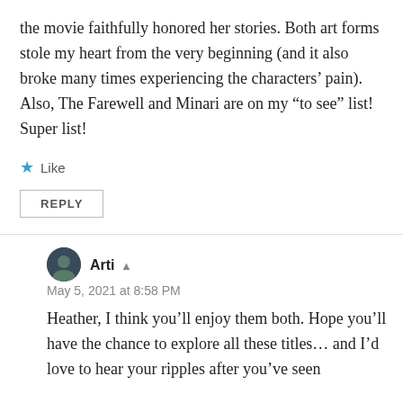the movie faithfully honored her stories. Both art forms stole my heart from the very beginning (and it also broke many times experiencing the characters' pain).
Also, The Farewell and Minari are on my “to see” list!
Super list!
★ Like
REPLY
Arti
May 5, 2021 at 8:58 PM
Heather, I think you’ll enjoy them both. Hope you’ll have the chance to explore all these titles… and I’d love to hear your ripples after you’ve seen